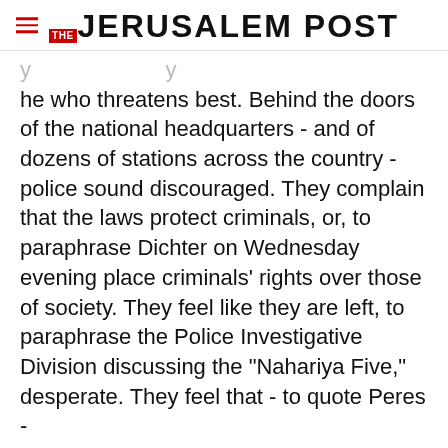THE JERUSALEM POST
he who threatens best. Behind the doors of the national headquarters - and of dozens of stations across the country - police sound discouraged. They complain that the laws protect criminals, or, to paraphrase Dichter on Wednesday evening place criminals' rights over those of society. They feel like they are left, to paraphrase the Police Investigative Division discussing the "Nahariya Five," desperate. They feel that - to quote Peres -
Advertisement